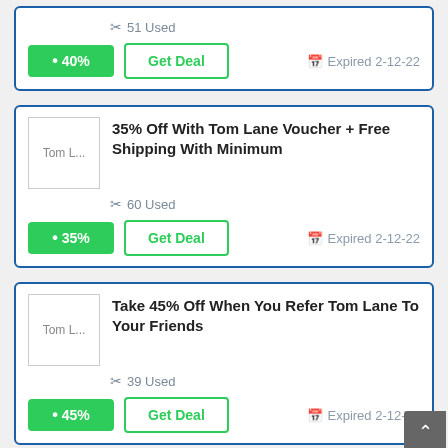[Figure (other): Partial coupon card showing 40% badge, Get Deal button, and Expired 2-12-22 with 51 Used]
[Figure (other): Coupon card: 35% Off With Tom Lane Voucher + Free Shipping With Minimum. 60 Used. Get Deal button. Expired 2-12-22. 35% badge.]
[Figure (other): Coupon card: Take 45% Off When You Refer Tom Lane To Your Friends. 39 Used. Get Deal button. Expired 2-12-22. 45% badge.]
[Figure (other): Partial bottom card partially visible at page bottom.]